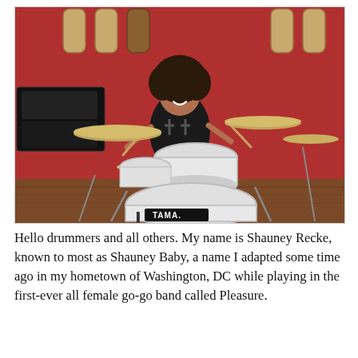[Figure (photo): A woman with natural afro hair sits smiling behind a large white sparkle Tama drum kit with multiple cymbals, in a music studio with guitars hanging on a red wall and amplifiers visible on the left.]
Hello drummers and all others. My name is Shauney Recke, known to most as Shauney Baby, a name I adapted some time ago in my hometown of Washington, DC while playing in the first-ever all female go-go band called Pleasure.